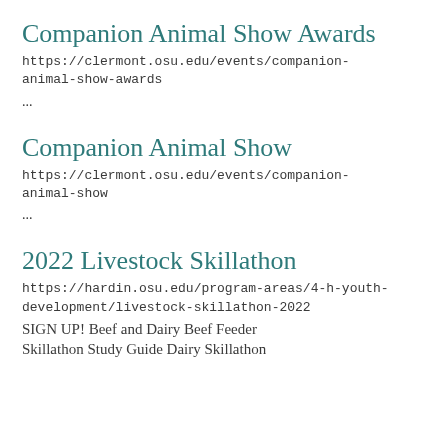Companion Animal Show Awards
https://clermont.osu.edu/events/companion-animal-show-awards
...
Companion Animal Show
https://clermont.osu.edu/events/companion-animal-show
...
2022 Livestock Skillathon
https://hardin.osu.edu/program-areas/4-h-youth-development/livestock-skillathon-2022
SIGN UP! Beef and Dairy Beef Feeder Skillathon Study Guide Dairy Skillathon